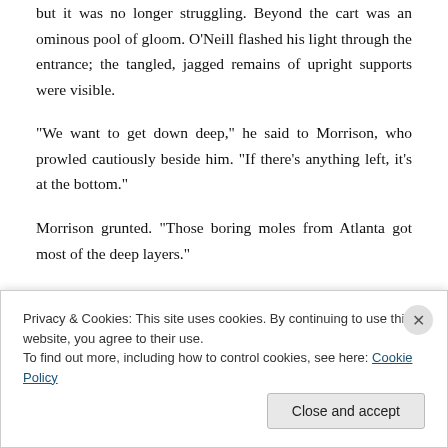but it was no longer struggling. Beyond the cart was an ominous pool of gloom. O'Neill flashed his light through the entrance; the tangled, jagged remains of upright supports were visible.
“We want to get down deep,” he said to Morrison, who prowled cautiously beside him. “If there’s anything left, it’s at the bottom.”
Morrison grunted. “Those boring moles from Atlanta got most of the deep layers.”
“Until the others get their mines ready” O’Neill stepped
Privacy & Cookies: This site uses cookies. By continuing to use this website, you agree to their use.
To find out more, including how to control cookies, see here: Cookie Policy